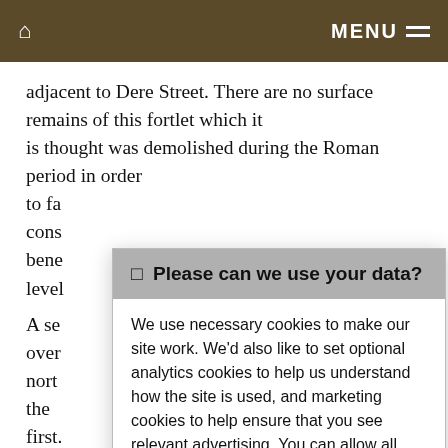🏠  MENU ≡
adjacent to Dere Street. There are no surface remains of this fortlet which it is thought was demolished during the Roman period in order to fa... cons... bene... level...

A se... over... nort... the first. as a upst... cam... parallelogram in shape and encloses an area of 5.5ha. The surrounding rampart
🔲 Please can we use your data?

We use necessary cookies to make our site work. We'd also like to set optional analytics cookies to help us understand how the site is used, and marketing cookies to help ensure that you see relevant advertising. You can allow all cookies or manage them individually. More information

[Accept Cookies] [Customise Cookies]